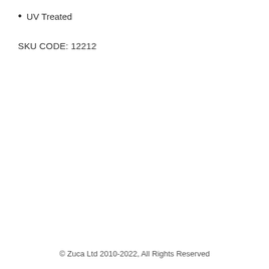UV Treated
SKU CODE: 12212
© Zuca Ltd 2010-2022, All Rights Reserved